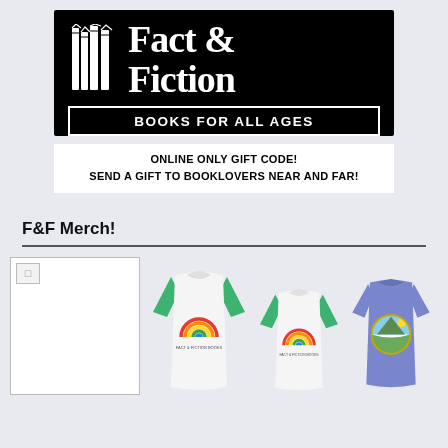[Figure (logo): Fact & Fiction Books For All Ages bookstore logo — black background with white stylized books icon on left and bold serif text 'Fact & Fiction' on right, with 'BOOKS FOR ALL AGES' in white sans-serif text in a white-bordered rectangle at bottom]
ONLINE ONLY GIFT CODE!
SEND A GIFT TO BOOKLOVERS NEAR AND FAR!
F&F Merch!
[Figure (photo): Three merchandise t-shirts: a broken image placeholder on the left, a white and green raglan baseball shirt with a rainbow graphic in the center-left, a smaller white and green raglan with rainbow graphic in center-right, and a purple/blue t-shirt with a circular scenic design on the right]